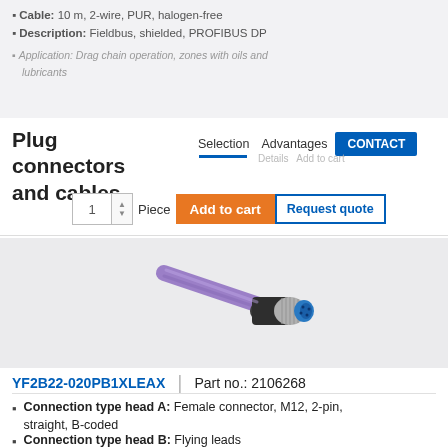Cable: 10 m, 2-wire, PUR, halogen-free
Description: Fieldbus, shielded, PROFIBUS DP
Plug connectors and cables
Selection  Advantages  CONTACT
[Figure (photo): M12 plug connector cable with purple/violet cable jacket and blue-tipped metal connector end, B-coded female straight connector]
YF2B22-020PB1XLEAX  |  Part no.: 2106268
Connection type head A: Female connector, M12, 2-pin, straight, B-coded
Connection type head B: Flying leads